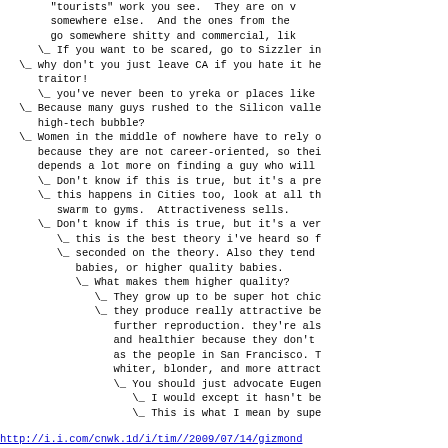"tourists" work you see.  They are on v
somewhere else.  And the ones from the 
go somewhere shitty and commercial, lik
\_ If you want to be scared, go to Sizzler in
\_ why don't you just leave CA if you hate it he
traitor!
   \_ you've never been to yreka or places like
\_ Because many guys rushed to the Silicon valle
high-tech bubble?
\_ Women in the middle of nowhere have to rely o
because they are not career-oriented, so thei
depends a lot more on finding a guy who will 
   \_ Don't know if this is true, but it's a pre
   \_ this happens in Cities too, look at all th
      swarm to gyms.  Attractiveness sells.
   \_ Don't know if this is true, but it's a ver
      \_ this is the best theory i've heard so f
      \_ seconded on the theory. Also they tend 
         babies, or higher quality babies.
         \_ What makes them higher quality?
            \_ They grow up to be super hot chic
            \_ they produce really attractive be
               further reproduction. they're als
               and healthier because they don't 
               as the people in San Francisco. T
               whiter, blonder, and more attract
               \_ You should just advocate Eugen
                  \_ I would except it hasn't be
                  \_ This is what I mean by supe
http://i.i.com/cnwk.1d/i/tim//2009/07/14/gizmond